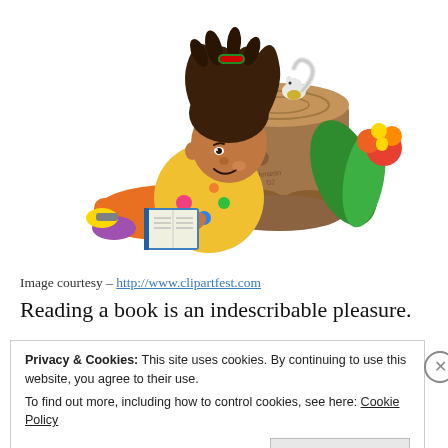[Figure (illustration): Clip art illustration of a child with dreadlocks reading a book while leaning against a tree stump, with a small squirrel on the stump and colorful flowers nearby.]
Image courtesy – http://www.clipartfest.com
Reading a book is an indescribable pleasure.
Privacy & Cookies: This site uses cookies. By continuing to use this website, you agree to their use. To find out more, including how to control cookies, see here: Cookie Policy